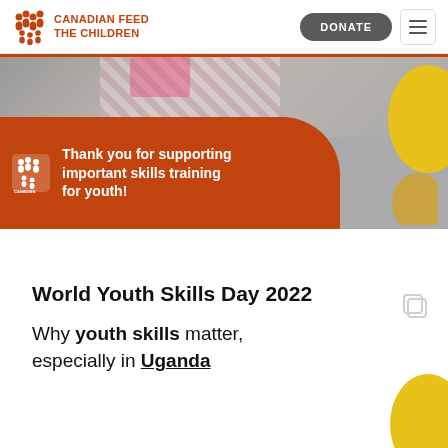[Figure (screenshot): Canadian Feed the Children logo with orange icon of people figures and red-orange text 'CANADIAN FEED THE CHILDREN']
[Figure (screenshot): Navigation bar with DONATE button and hamburger menu icon]
[Figure (photo): Banner image showing partial photo of person with plaid clothing above orange curved banner. Orange banner reads 'Thank you for supporting important skills training for youth!' with Canadian Feed the Children white logo. Yellow decorative blob on right side.]
World Youth Skills Day 2022
Why youth skills matter, especially in Uganda